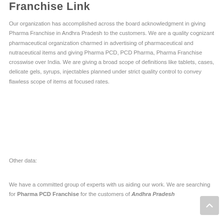Franchise Link
Our organization has accomplished across the board acknowledgment in giving Pharma Franchise in Andhra Pradesh to the customers. We are a quality cognizant pharmaceutical organization charmed in advertising of pharmaceutical and nutraceutical items and giving Pharma PCD, PCD Pharma, Pharma Franchise crosswise over India. We are giving a broad scope of definitions like tablets, cases, delicate gels, syrups, injectables planned under strict quality control to convey flawless scope of items at focused rates.
Other data:
We have a committed group of experts with us aiding our work. We are searching for Pharma PCD Franchise for the customers of Andhra Pradesh.